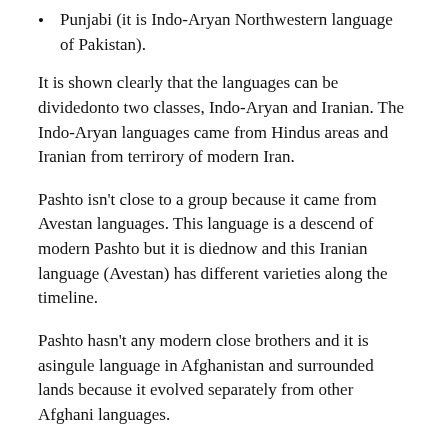Punjabi (it is Indo-Aryan Northwestern language of Pakistan).
It is shown clearly that the languages can be dividedonto two classes, Indo-Aryan and Iranian. The Indo-Aryan languages came from Hindus areas and Iranian from terrirory of modern Iran.
Pashto isn't close to a group because it came from Avestan languages. This language is a descend of modern Pashto but it is diednow and this Iranian language (Avestan) has different varieties along the timeline.
Pashto hasn't any modern close brothers and it is asingule language in Afghanistan and surrounded lands because it evolved separately from other Afghani languages.